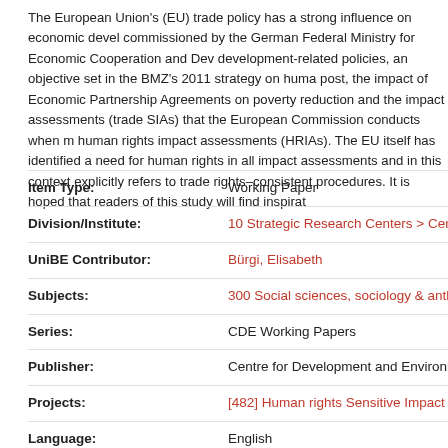The European Union's (EU) trade policy has a strong influence on economic devel... commissioned by the German Federal Ministry for Economic Cooperation and Dev... development-related policies, an objective set in the BMZ's 2011 strategy on huma... post, the impact of Economic Partnership Agreements on poverty reduction and the... impact assessments (trade SIAs) that the European Commission conducts when m... human rights impact assessments (HRIAs). The EU itself has identified a need for... human rights in all impact assessments and in this context explicitly refers to trade... rights–consistent procedures. It is hoped that readers of this study will find inspirat...
| Field | Value |
| --- | --- |
| Item Type: | Working Paper |
| Division/Institute: | 10 Strategic Research Centers > Centre for Developm... |
| UniBE Contributor: | Bürgi, Elisabeth |
| Subjects: | 300 Social sciences, sociology & anthropology > 340 L... |
| Series: | CDE Working Papers |
| Publisher: | Centre for Development and Environment (CDE); Bern... |
| Projects: | [482] Human rights Sensitive Impact Assessment of Tr... |
| Language: | English |
| Submitter: | Users 124 not found. |
| Date Deposited: | 11 Sep 2014 16:25 |
| Last Modified: | 12 Sep 2017 06:29 |